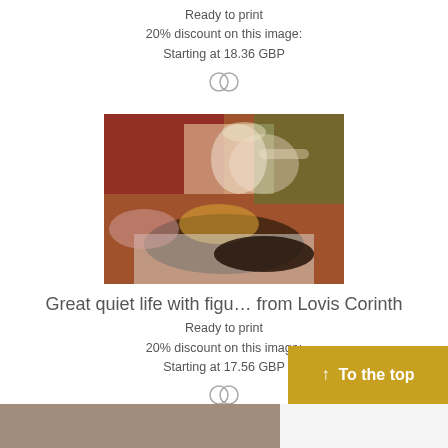Ready to print
20% discount on this image:
Starting at 18.36 GBP
[Figure (illustration): Mastercard/payment icon (two overlapping circles)]
[Figure (photo): Painting 'Great quiet life with figu...' by Lovis Corinth — a still life with a woman, flowers, game birds, and fruit]
Great quiet life with figu… from Lovis Corinth
Ready to print
20% discount on this image:
Starting at 17.56 GBP
[Figure (illustration): Mastercard/payment icon (two overlapping circles)]
↑ To the top